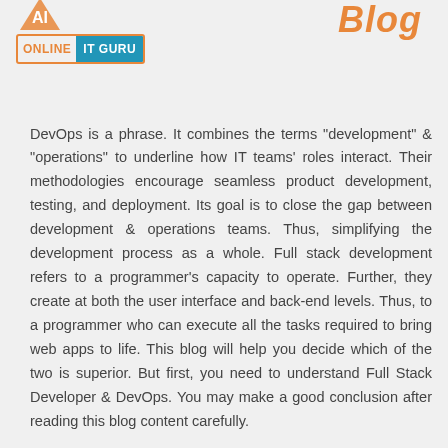[Figure (logo): AI/Online IT Guru logo with orange and blue badge showing ONLINE IT GURU text, and Blog title in orange italic text top right]
DevOps is a phrase. It combines the terms "development" & "operations" to underline how IT teams' roles interact. Their methodologies encourage seamless product development, testing, and deployment. Its goal is to close the gap between development & operations teams. Thus, simplifying the development process as a whole. Full stack development refers to a programmer's capacity to operate. Further, they create at both the user interface and back-end levels. Thus, to a programmer who can execute all the tasks required to bring web apps to life. This blog will help you decide which of the two is superior. But first, you need to understand Full Stack Developer & DevOps. You may make a good conclusion after reading this blog content carefully.
Choosing between a full stack developer and a DevOps as a career path. There is a lot to learn about these